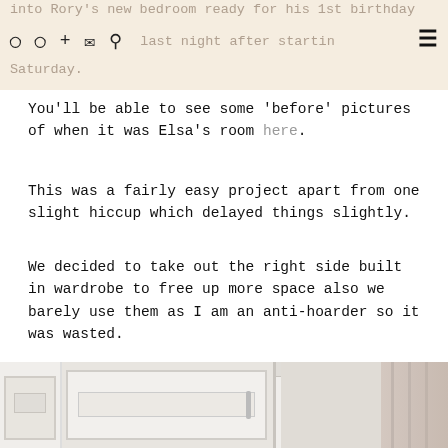into Rory's new bedroom ready for his 1st birthday date® + finished last night after starting Saturday.
You'll be able to see some 'before' pictures of when it was Elsa's room here.
This was a fairly easy project apart from one slight hiccup which delayed things slightly.
We decided to take out the right side built in wardrobe to free up more space also we barely use them as I am an anti-hoarder so it was wasted.
[Figure (photo): Interior photo showing a white built-in wardrobe with sliding doors and a pink/mauve curtain to the right side]